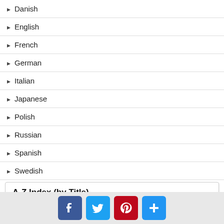Danish
English
French
German
Italian
Japanese
Polish
Russian
Spanish
Swedish
A-Z Index (by Title)
0-9 A B C D E F G H I J K L M N O P Q R S T U V W X Y Z
For New Product Updates, you can subscribe to our
[Figure (screenshot): Social sharing buttons: Facebook, Twitter, Pinterest, and a plus/share button]